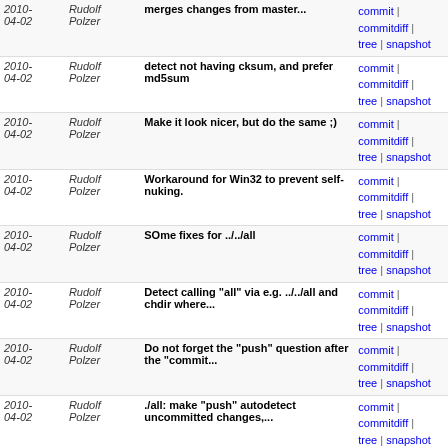| Date | Author | Message | Links |
| --- | --- | --- | --- |
| 2010-04-02 | Rudolf Polzer | merges changes from master... | commit | commitdiff | tree | snapshot |
| 2010-04-02 | Rudolf Polzer | detect not having cksum, and prefer md5sum | commit | commitdiff | tree | snapshot |
| 2010-04-02 | Rudolf Polzer | Make it look nicer, but do the same ;) | commit | commitdiff | tree | snapshot |
| 2010-04-02 | Rudolf Polzer | Workaround for Win32 to prevent self-nuking. | commit | commitdiff | tree | snapshot |
| 2010-04-02 | Rudolf Polzer | SOme fixes for ../../all | commit | commitdiff | tree | snapshot |
| 2010-04-02 | Rudolf Polzer | Detect calling "all" via e.g. ../../all and chdir where... | commit | commitdiff | tree | snapshot |
| 2010-04-02 | Rudolf Polzer | Do not forget the "push" question after the "commit... | commit | commitdiff | tree | snapshot |
| 2010-04-02 | Rudolf Polzer | ./all: make "push" autodetect uncommitted changes,... | commit | commitdiff | tree | snapshot |
| 2010-04-02 | Rudolf Polzer | also load netradiant in ./all | commit | commitdiff | tree | snapshot |
| 2010-04-02 | Rudolf Polzer | Merge commit 'origin/esteel/renames' | commit | commitdiff | tree | snapshot |
| 2010-04-02 | Rudolf Polzer | Merge commit 'origin/mand1nga/rebrand' | commit | commitdiff | tree | snapshot |
| 2010-03-31 | Stephan Stahl | rerunning did not work for me, this should fix it | commit | commitdiff | tree | snapshot |
| 2010-03-31 | xonotic | .gitignore div0-gittools | commit | commitdiff | tree | snapshot |
| 2010-03-31 | xonotic | also load div0-gittools | commit | commitdiff | tree | snapshot |